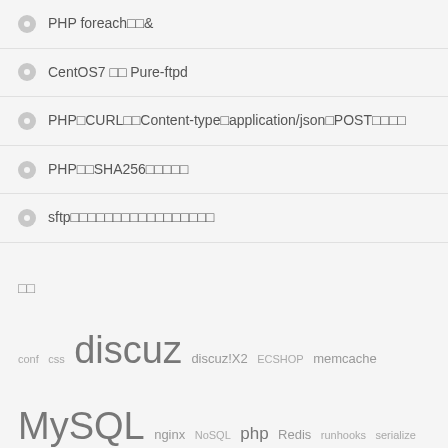PHP foreach□□&
CentOS7 □□ Pure-ftpd
PHP□CURL□□Content-type□application/json□POST□□□□
PHP□□SHA256□□□□□
sftp□□□□□□□□□□□□□□□□□
□□
conf css discuz discuz!X2 ECSHOP memcache MySQL nginx NoSQL php Redis runhooks serialize session UCenter unserialize WordPress □□□□ □□□□ □□□□